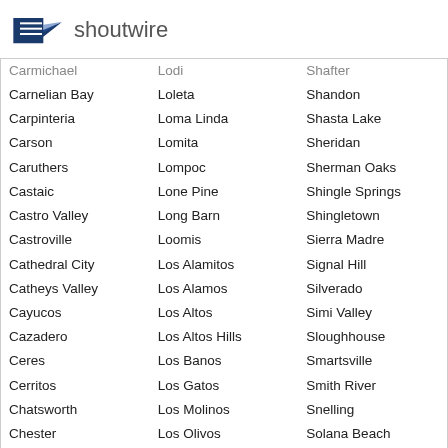shoutwire
Carmichael
Lodi
Shafter
Carnelian Bay
Loleta
Shandon
Carpinteria
Loma Linda
Shasta Lake
Carson
Lomita
Sheridan
Caruthers
Lompoc
Sherman Oaks
Castaic
Lone Pine
Shingle Springs
Castro Valley
Long Barn
Shingletown
Castroville
Loomis
Sierra Madre
Cathedral City
Los Alamitos
Signal Hill
Catheys Valley
Los Alamos
Silverado
Cayucos
Los Altos
Simi Valley
Cazadero
Los Altos Hills
Sloughhouse
Ceres
Los Banos
Smartsville
Cerritos
Los Gatos
Smith River
Chatsworth
Los Molinos
Snelling
Chester
Los Olivos
Solana Beach
Chico
Los Osos
Soledad
Chino
Lost Hills
Solvang
Chino Hills
Lower Lake
Somerset
Chowchilla
Lucerne
Somis